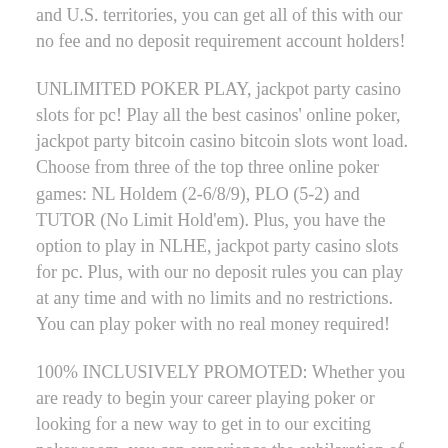and U.S. territories, you can get all of this with our no fee and no deposit requirement account holders!
UNLIMITED POKER PLAY, jackpot party casino slots for pc! Play all the best casinos' online poker, jackpot party bitcoin casino bitcoin slots wont load. Choose from three of the top three online poker games: NL Holdem (2-6/8/9), PLO (5-2) and TUTOR (No Limit Hold'em). Plus, you have the option to play in NLHE, jackpot party casino slots for pc. Plus, with our no deposit rules you can play at any time and with no limits and no restrictions. You can play poker with no real money required!
100% INCLUSIVELY PROMOTED: Whether you are ready to begin your career playing poker or looking for a new way to get in to our exciting poker room, you can experience the exhilaration of a real money win online. With no bankroll restrictions and no credit card deposits, you can play the poker you want right at our website and in any casino you want! Play poker online without limits and restrictions and